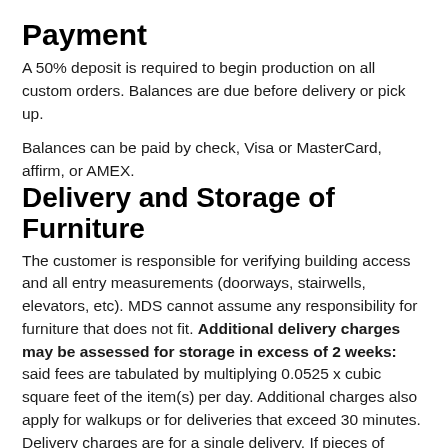Payment
A 50% deposit is required to begin production on all custom orders. Balances are due before delivery or pick up.
Balances can be paid by check, Visa or MasterCard, affirm, or AMEX.
Delivery and Storage of Furniture
The customer is responsible for verifying building access and all entry measurements (doorways, stairwells, elevators, etc). MDS cannot assume any responsibility for furniture that does not fit. Additional delivery charges may be assessed for storage in excess of 2 weeks: said fees are tabulated by multiplying 0.0525 x cubic square feet of the item(s) per day. Additional charges also apply for walkups or for deliveries that exceed 30 minutes. Delivery charges are for a single delivery. If pieces of